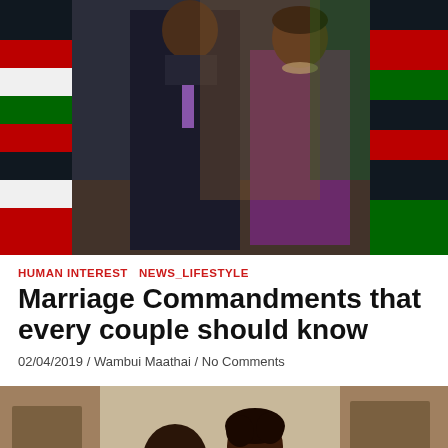[Figure (photo): A man in a dark suit with a purple tie and a woman in a purple dress stand together in front of Kenyan flags, smiling formally.]
HUMAN INTEREST  NEWS_LIFESTYLE
Marriage Commandments that every couple should know
02/04/2019 / Wambui Maathai / No Comments
[Figure (photo): A couple leaning together over a cardboard box, smiling, in a warm indoor setting.]